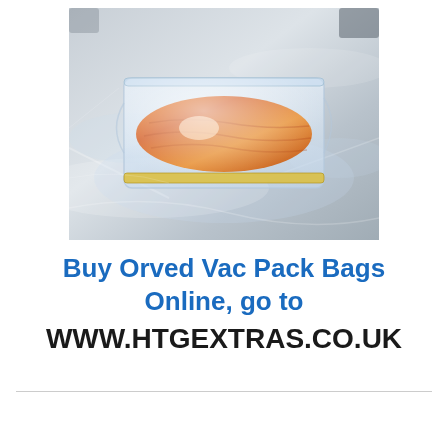[Figure (photo): A vacuum-sealed clear plastic bag containing what appears to be salmon or fish fillet, placed on a shiny metallic surface. The bag is tightly sealed around the orange-colored fish.]
Buy Orved Vac Pack Bags Online, go to WWW.HTGEXTRAS.CO.UK